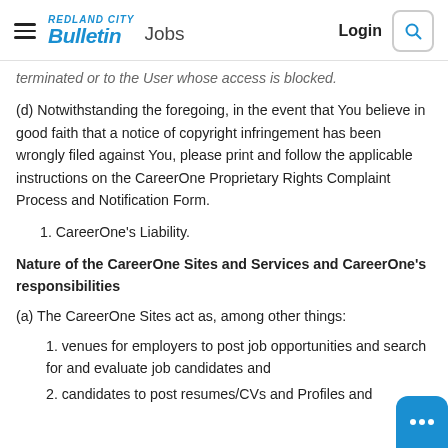REDLAND CITY Bulletin Jobs | Login
terminated or to the User whose access is blocked.
(d) Notwithstanding the foregoing, in the event that You believe in good faith that a notice of copyright infringement has been wrongly filed against You, please print and follow the applicable instructions on the CareerOne Proprietary Rights Complaint Process and Notification Form.
1. CareerOne's Liability.
Nature of the CareerOne Sites and Services and CareerOne's responsibilities
(a) The CareerOne Sites act as, among other things:
1. venues for employers to post job opportunities and search for and evaluate job candidates and
2. candidates to post resumes/CVs and Profiles and